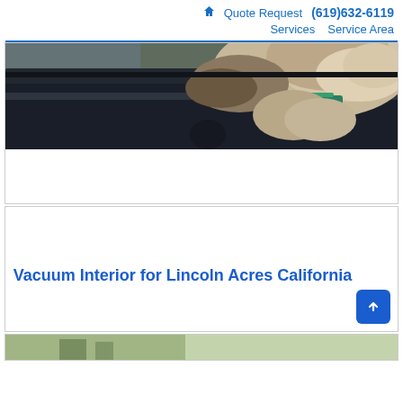🏠 Quote Request (619)632-6119 Services Service Area
[Figure (photo): Close-up photo of a dog's paw and snout near a car door window, with a teal collar visible, dark car interior dashboard shown]
Vacuum Interior for Lincoln Acres California
[Figure (photo): Partial photo at bottom of page, appears to show a car exterior or outdoor scene with green foliage]